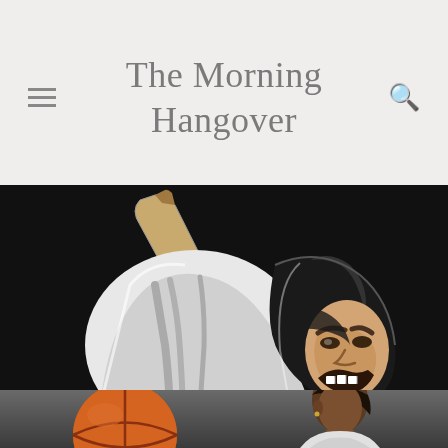The Morning Hangover
[Figure (illustration): Grim reaper / Minuteman mascot logo on black background - figure in black hooded cloak holding a bat, with an angry face, in white, black, gray and tan colors]
TAG: UMASS MINUTEMEN
[Figure (photo): Basketball player holding an orange basketball, partial photo at bottom edge of page, dark gray background]